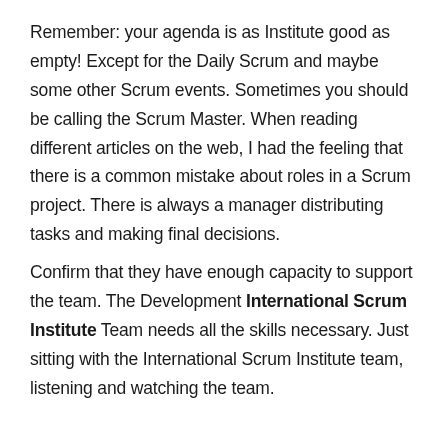Remember: your agenda is as Institute good as empty! Except for the Daily Scrum and maybe some other Scrum events. Sometimes you should be calling the Scrum Master. When reading different articles on the web, I had the feeling that there is a common mistake about roles in a Scrum project. There is always a manager distributing tasks and making final decisions.
Confirm that they have enough capacity to support the team. The Development International Scrum Institute Team needs all the skills necessary. Just sitting with the International Scrum Institute team, listening and watching the team.